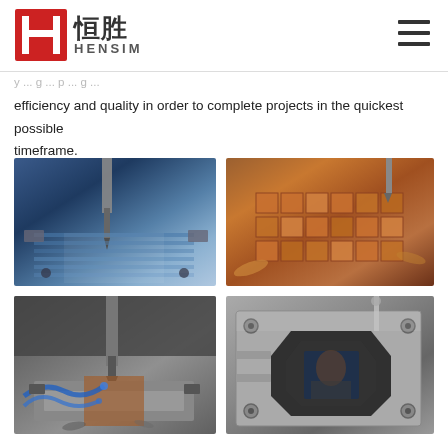HENSIM 恒胜 - Engineering company header with logo and navigation
...y ... g ... p ... g ...
efficiency and quality in order to complete projects in the quickest possible
timeframe.
[Figure (photo): CNC milling machine with cutting tool on metal part, blue-toned industrial photo]
[Figure (photo): Copper EDM electrode blocks arranged on machining plate, warm copper tones]
[Figure (photo): CNC drilling operation with coolant lines on metal workpiece]
[Figure (photo): Mold inspection with person examining cavity mold with hexagonal cutout]